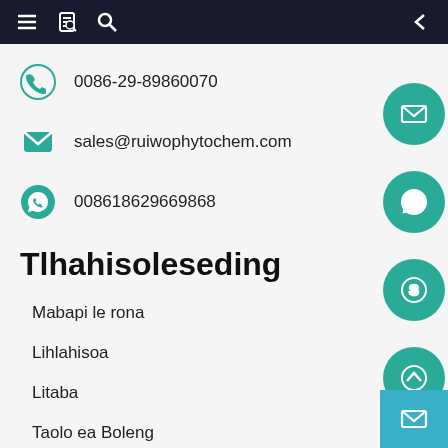Navigation bar with menu, document, search icons and back arrow
0086-29-89860070
sales@ruiwophytochem.com
008618629669868
Tlhahisoleseding
Mabapi le rona
Lihlahisoa
Litaba
Taolo ea Boleng
Lisebelisoa tse so ntlafatsoe
Iteanye le rona